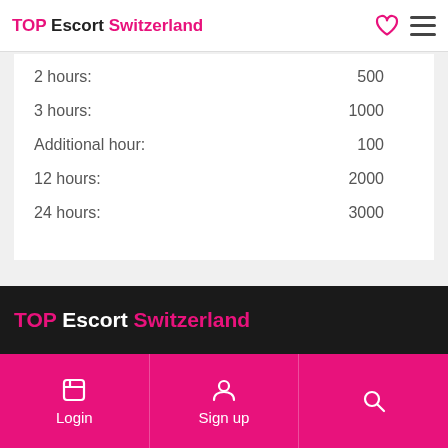TOP Escort Switzerland
| 2 hours: | 500 |
| 3 hours: | 1000 |
| Additional hour: | 100 |
| 12 hours: | 2000 |
| 24 hours: | 3000 |
TOP Escort Switzerland | Login | Sign up | Search